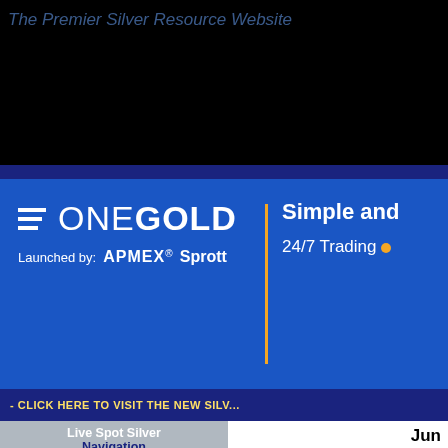The Premier Silver Resource Website
[Figure (photo): ONEGOLD advertisement banner - Launched by APMEX and Sprott, Simple and 24/7 Trading]
- CLICK HERE TO VISIT THE NEW SILV...
Live Spot Silver
Navigation
Silver Market Articles
Silver Discussions at the
Silver Company Links
Silver Market Updates
Silver & Gold Headlines
Silver Stock News
Silver Equity Quotes
Silver & Precious Metals
TSX V: ABBA
Junk Silver
By: David Morgan
[Figure (photo): Portrait photo of David Morgan, a man smiling in a dark red shirt]
-- Posted 12 December, 2008 |
Junk Silver
◆Junk silver◆ and ◆junk bags◆ are terms th... half dollars minted 1964 or earlier; commonly